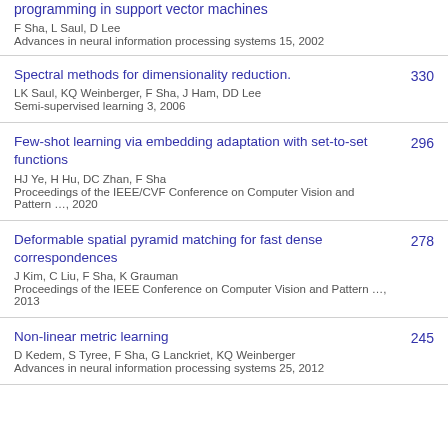programming in support vector machines
F Sha, L Saul, D Lee
Advances in neural information processing systems 15, 2002
Spectral methods for dimensionality reduction.
LK Saul, KQ Weinberger, F Sha, J Ham, DD Lee
Semi-supervised learning 3, 2006
330
Few-shot learning via embedding adaptation with set-to-set functions
HJ Ye, H Hu, DC Zhan, F Sha
Proceedings of the IEEE/CVF Conference on Computer Vision and Pattern …, 2020
296
Deformable spatial pyramid matching for fast dense correspondences
J Kim, C Liu, F Sha, K Grauman
Proceedings of the IEEE Conference on Computer Vision and Pattern …, 2013
278
Non-linear metric learning
D Kedem, S Tyree, F Sha, G Lanckriet, KQ Weinberger
Advances in neural information processing systems 25, 2012
245